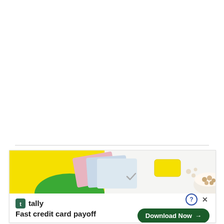[Figure (illustration): Advertisement banner for Tally app showing credit cards and household items on a yellow and white background. Bottom section shows Tally logo, 'Fast credit card payoff' tagline, and a green 'Download Now' button with arrow.]